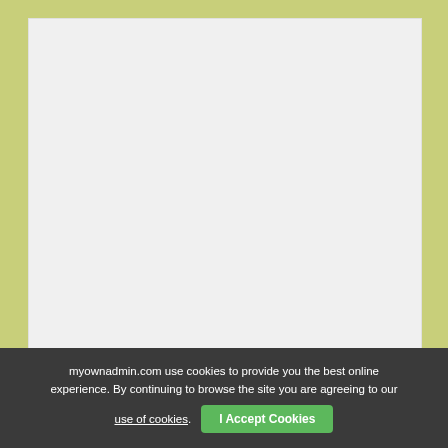[Figure (other): Large light gray placeholder box, likely an advertisement or image area]
READY TO START YOUR OWN AFFILIATE ONLINE BUSINESS?
myownadmin.com use cookies to provide you the best online experience. By continuing to browse the site you are agreeing to our use of cookies. I Accept Cookies